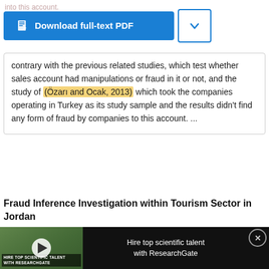contrary with the previous related studies, which test whether sales account had manipulations or fraud in it or not, and the study of (Özarı and Ocak, 2013) which took the companies operating in Turkey as its study sample and the results didn't find any form of fraud by companies to this account. ...
Fraud Inference Investigation within Tourism Sector in Jordan
[Figure (photo): Advertisement overlay showing scientists/researchers in lab coats with text 'Hire top scientific talent with ResearchGate' and a play button for video]
[Figure (photo): Thermo Fisher Scientific advertisement showing a book/resource cover with a blue globe illustration and text 'Pluripotent stem cell']